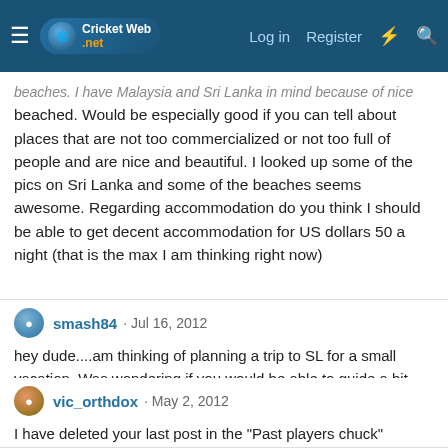CricketWeb.net — Log in | Register
beaches. I have Malaysia and Sri Lanka in mind because of nice beached. Would be especially good if you can tell about places that are not too commercialized or not too full of people and are nice and beautiful. I looked up some of the pics on Sri Lanka and some of the beaches seems awesome. Regarding accommodation do you think I should be able to get decent accommodation for US dollars 50 a night (that is the max I am thinking right now)
smash84 · Jul 16, 2012
hey dude....am thinking of planning a trip to SL for a small vacation. Was wondering if you would be able to guide a bit about beautiful beaches and places to go and reasonably priced places to stay? I was also wondering if it is easy to get halal food in Sri Lanka?
vic_orthdox · May 2, 2012
I have deleted your last post in the "Past players chuck" thread,